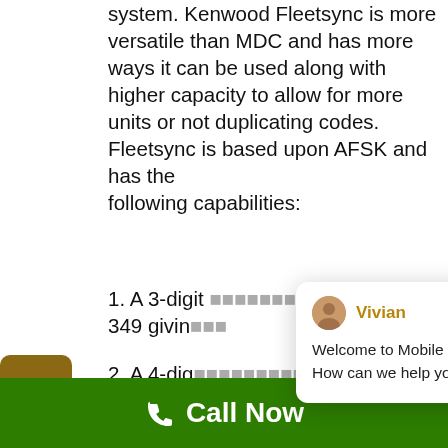system. Kenwood Fleetsync is more versatile than MDC and has more ways it can be used along with higher capacity to allow for more units or not duplicating codes. Fleetsync is based upon AFSK and has the following capabilities:
1. A 3-digit system with a range from 349 giving
2. A 4-digit 1000-499 4000 possibilities.
3. A baud rate of either 1200 or 24 higher speed will
[Figure (other): Chat popup widget from Vivian at Mobile Relay Associates saying 'Welcome to Mobile Relay Associates! How can we help you?' with avatar and close button]
Call Now